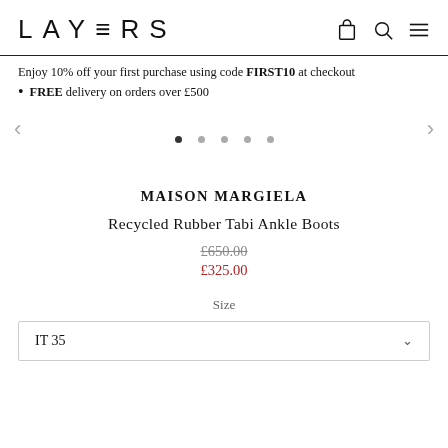LAYERS
Enjoy 10% off your first purchase using code FIRST10 at checkout
FREE delivery on orders over £500
[Figure (other): Image carousel with left/right navigation arrows and pagination dots (5 dots, first active)]
MAISON MARGIELA
Recycled Rubber Tabi Ankle Boots
£650.00 (strikethrough) £325.00 (sale price in red)
Size
IT 35